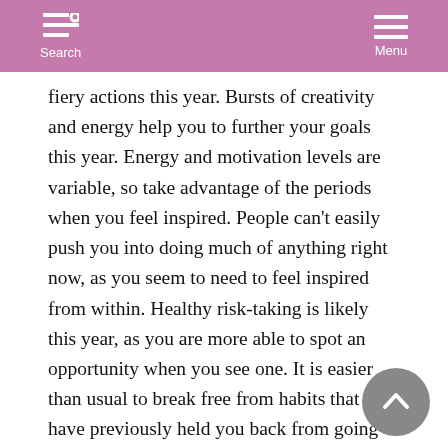Search  Menu
fiery actions this year. Bursts of creativity and energy help you to further your goals this year. Energy and motivation levels are variable, so take advantage of the periods when you feel inspired. People can't easily push you into doing much of anything right now, as you seem to need to feel inspired from within. Healthy risk-taking is likely this year, as you are more able to spot an opportunity when you see one. It is easier than usual to break free from habits that have previously held you back from going after what you want in life.
There can be significant professional as well as personal opportunities this year. Your faith in your ability to produce